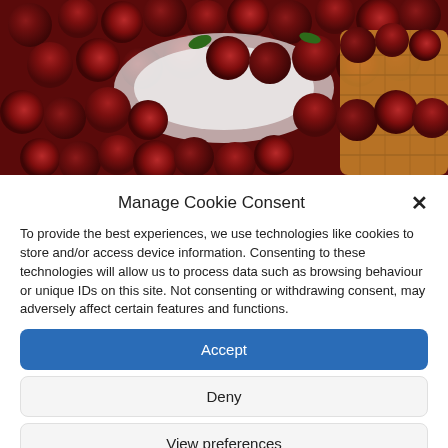[Figure (photo): Close-up photo of red/dark cherries piled in and around a wicker basket with white cloth]
Manage Cookie Consent
To provide the best experiences, we use technologies like cookies to store and/or access device information. Consenting to these technologies will allow us to process data such as browsing behaviour or unique IDs on this site. Not consenting or withdrawing consent, may adversely affect certain features and functions.
Accept
Deny
View preferences
Cookie Policy  Data privacy  Impressum